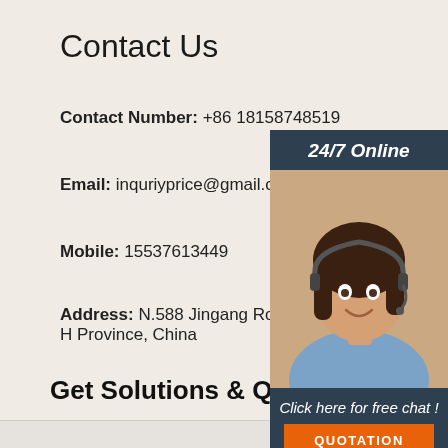Contact Us
Contact Number:  +86 18158748519
Email:  inquriyprice@gmail.com
Mobile:  15537613449
Address:  N.588 Jingang Road, Changge City, H Province, China
[Figure (photo): Customer service representative with headset, 24/7 Online chat panel with QUOTATION button]
Get Solutions & Quotatio
Name:
Email:
[Figure (logo): TOP logo with orange dots forming a house/triangle shape]